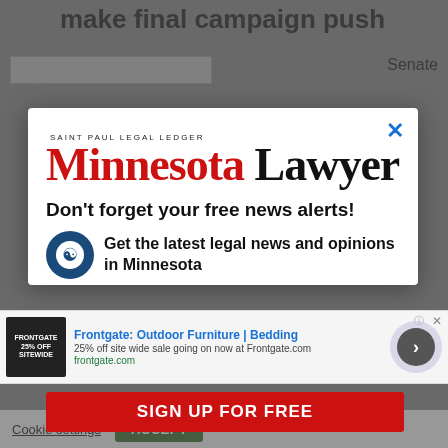make final campaign push
Senate
[Figure (screenshot): Background newspaper page partially visible behind modal overlay]
× (close button)
[Figure (logo): Saint Paul Legal Ledger / Minnesota Lawyer logo with red MINNESOTA and black LAWYER text]
Don't forget your free news alerts!
[Figure (illustration): Accessibility/person circular icon in dark blue]
Get the latest legal news and opinions in Minnesota
[Figure (screenshot): Frontgate advertisement banner: Outdoor Furniture | Bedding, 25% off site wide sale going on now at Frontgate.com, frontgate.com]
SIGN UP FOR FREE
Cookie settings
ACCEPT